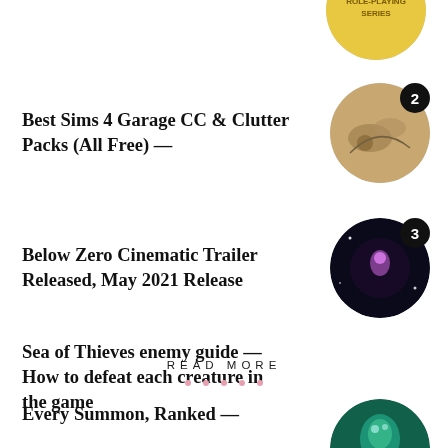[Figure (illustration): Partial circular thumbnail with yellow badge at top, partially cut off]
Best Sims 4 Garage CC & Clutter Packs (All Free) —
[Figure (illustration): Circular thumbnail showing a map-like image, with badge number 2]
Below Zero Cinematic Trailer Released, May 2021 Release
[Figure (illustration): Circular thumbnail showing dark cinematic scene, with badge number 3]
Sea of Thieves enemy guide — How to defeat each creature in the game
[Figure (illustration): Circular thumbnail showing teal creature in game, with badge number 4]
READ MORE
• • • • •
Every Summon, Ranked —
[Figure (illustration): Partial circular thumbnail at bottom, partially cut off]